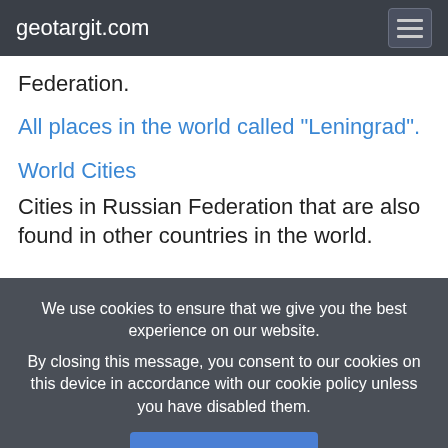geotargit.com
Federation.
All places in the world called "Leningrad".
World Cities
Cities in Russian Federation that are also found in other countries in the world.
We use cookies to ensure that we give you the best experience on our website. By closing this message, you consent to our cookies on this device in accordance with our cookie policy unless you have disabled them.
I Agree!